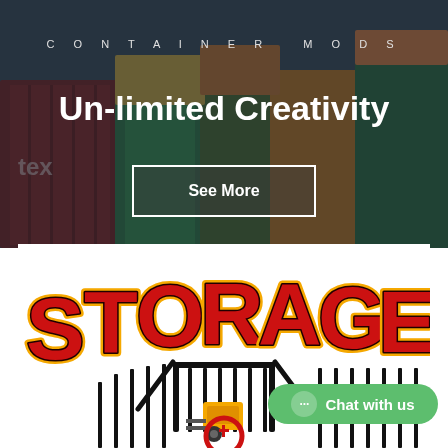CONTAINER MODS
Un-limited Creativity
[Figure (screenshot): Hero banner showing stacked colorful shipping containers with a dark overlay. Includes 'CONTAINER MODS' header text, 'Un-limited Creativity' headline, and a 'See More' button.]
[Figure (logo): Storage logo with bold red and orange block letters spelling STORAGE with yellow outline, over an illustration of a forklift and storage gate/containers.]
Chat with us